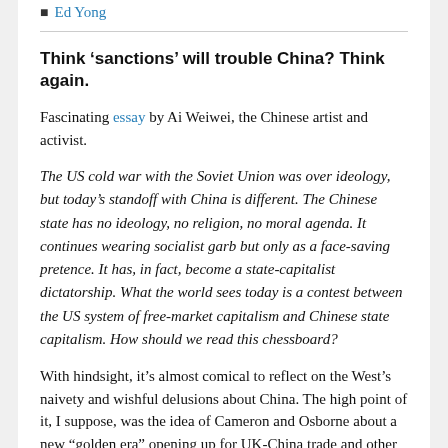Ed Yong
Think ‘sanctions’ will trouble China? Think again.
Fascinating essay by Ai Weiwei, the Chinese artist and activist.
The US cold war with the Soviet Union was over ideology, but today’s standoff with China is different. The Chinese state has no ideology, no religion, no moral agenda. It continues wearing socialist garb but only as a face-saving pretence. It has, in fact, become a state-capitalist dictatorship. What the world sees today is a contest between the US system of free-market capitalism and Chinese state capitalism. How should we read this chessboard?
With hindsight, it’s almost comical to reflect on the West’s naivety and wishful delusions about China. The high point of it, I suppose, was the idea of Cameron and Osborne about a new "golden era" opening up for UK-China trade and other relations. I remember the University’s pathetic